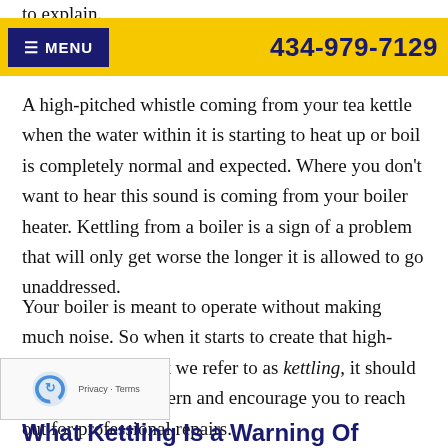to explain.
≡ MENU   434-979-7129
A high-pitched whistle coming from your tea kettle when the water within it is starting to heat up or boil is completely normal and expected. Where you don't want to hear this sound is coming from your boiler heater. Kettling from a boiler is a sign of a problem that will only get worse the longer it is allowed to go unaddressed.
Your boiler is meant to operate without making much noise. So when it starts to create that high-pitched whistle that we refer to as kettling, it should be a cause for concern and encourage you to reach out for professional repairs.
What Kettling Is a Warning Of